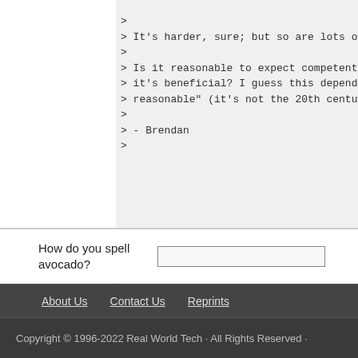>
> It's harder, sure; but so are lots o
>
> Is it reasonable to expect competent when
> it's beneficial? I guess this depend definitely
> reasonable" (it's not the 20th centu
>
> - Brendan
>
How do you spell avocado?
About Us   Contact Us   Reprints
Copyright © 1996-2022 Real World Tech · All Rights Reserved ·